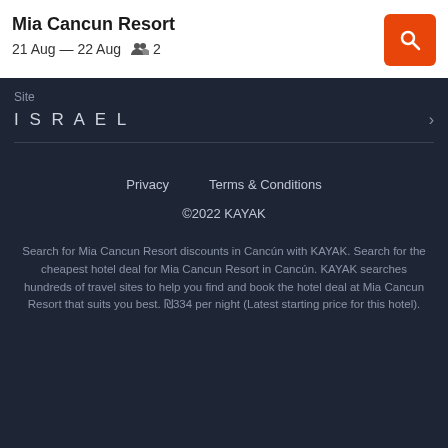Mia Cancun Resort
21 Aug — 22 Aug   2
Site
ISRAEL
Privacy   Terms & Conditions
©2022 KAYAK
Search for Mia Cancun Resort discounts in Cancún with KAYAK. Search for the cheapest hotel deal for Mia Cancun Resort in Cancún. KAYAK searches hundreds of travel sites to help you find and book the hotel deal at Mia Cancun Resort that suits you best. ₪334 per night (Latest starting price for this hotel).